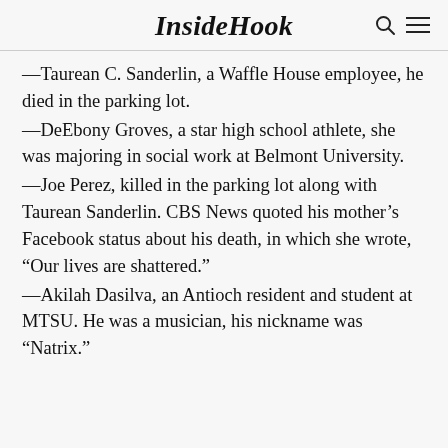InsideHook
—Taurean C. Sanderlin, a Waffle House employee, he died in the parking lot.
—DeEbony Groves, a star high school athlete, she was majoring in social work at Belmont University.
—Joe Perez, killed in the parking lot along with Taurean Sanderlin. CBS News quoted his mother's Facebook status about his death, in which she wrote, “Our lives are shattered.”
—Akilah Dasilva, an Antioch resident and student at MTSU. He was a musician, his nickname was “Natrix.”